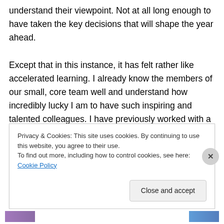understand their viewpoint. Not at all long enough to have taken the key decisions that will shape the year ahead.

Except that in this instance, it has felt rather like accelerated learning. I already know the members of our small, core team well and understand how incredibly lucky I am to have such inspiring and talented colleagues. I have previously worked with a number of the National Co-production Advisory Group, the fantastic people who guide and shape our work through their own lived experience. And I have had an early opportunity to think widely and
Privacy & Cookies: This site uses cookies. By continuing to use this website, you agree to their use.
To find out more, including how to control cookies, see here: Cookie Policy
Close and accept